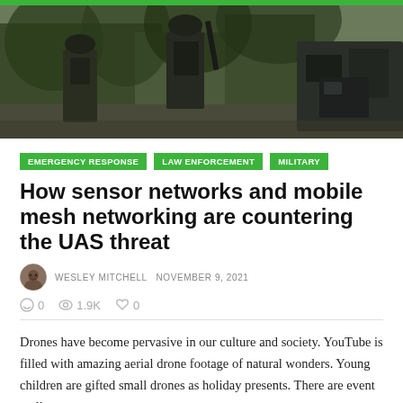[Figure (photo): Two soldiers in military tactical gear with backpacks and weapons, viewed from behind, standing near a military vehicle with trees in the background.]
EMERGENCY RESPONSE
LAW ENFORCEMENT
MILITARY
How sensor networks and mobile mesh networking are countering the UAS threat
WESLEY MITCHELL  NOVEMBER 9, 2021
0  1.9K  0
Drones have become pervasive in our culture and society. YouTube is filled with amazing aerial drone footage of natural wonders. Young children are gifted small drones as holiday presents. There are event mall